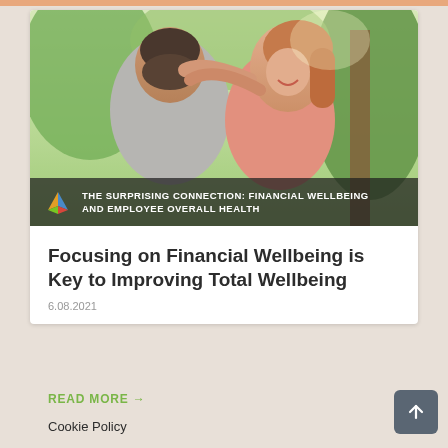[Figure (photo): A smiling couple embracing outdoors with greenery in background. The woman is wearing a pink top and has her arms around a man. Overlay banner reads: THE SURPRISING CONNECTION: FINANCIAL WELLBEING AND EMPLOYEE OVERALL HEALTH]
Focusing on Financial Wellbeing is Key to Improving Total Wellbeing
6.08.2021
READ MORE →
Cookie Policy